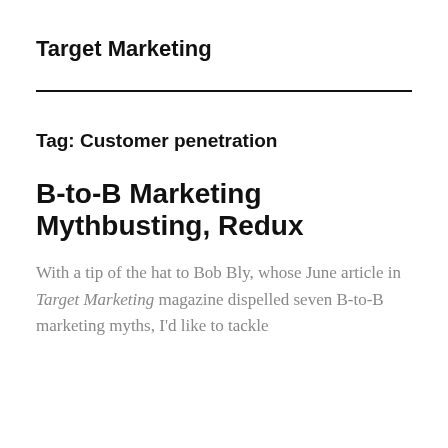Target Marketing
Tag: Customer penetration
B-to-B Marketing Mythbusting, Redux
With a tip of the hat to Bob Bly, whose June article in Target Marketing magazine dispelled seven B-to-B marketing myths, I'd like to tackle